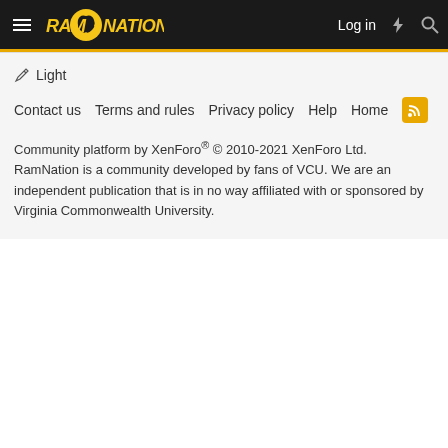RamNation — Log in
✏ Light
Contact us   Terms and rules   Privacy policy   Help   Home   [RSS]
Community platform by XenForo® © 2010-2021 XenForo Ltd. RamNation is a community developed by fans of VCU. We are an independent publication that is in no way affiliated with or sponsored by Virginia Commonwealth University.